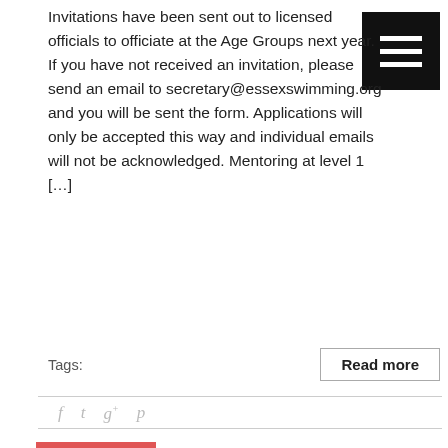Invitations have been sent out to licensed officials to officiate at the Age Groups next year. If you have not received an invitation, please send an email to secretary@essexswimming.org and you will be sent the form. Applications will only be accepted this way and individual emails will not be acknowledged. Mentoring at level 1 […]
Tags:
Read more
17 Oct 2019 Special General Meeting
Posted by: admin  |  Categories: Admin Committee Executive News
Comments Off on 17 Oct 2019 Special General Meeting
Dear Club Secretaries The Management Committee have been discussing the change of name of the